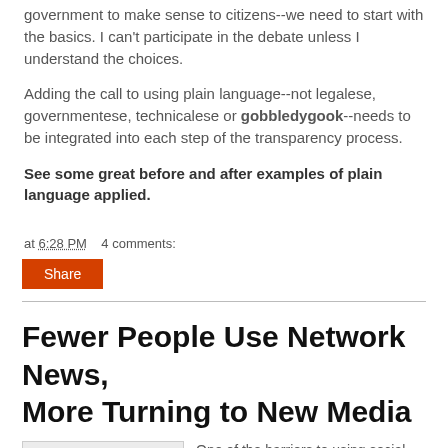government to make sense to citizens--we need to start with the basics. I can't participate in the debate unless I understand the choices.
Adding the call to using plain language--not legalese, governmentese, technicalese or gobbledygook--needs to be integrated into each step of the transparency process.
See some great before and after examples of plain language applied.
at 6:28 PM   4 comments:
Share
Fewer People Use Network News, More Turning to New Media
One of the barriers to using social